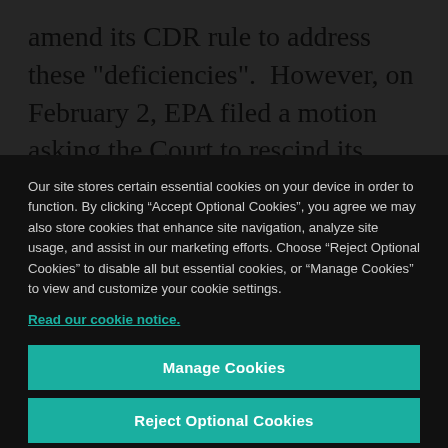amend its CDR rule to address these “deficiencies”. However, on February 2, EPA filed a motion asking the Court to rescind its order that
Our site stores certain essential cookies on your device in order to function. By clicking “Accept Optional Cookies”, you agree we may also store cookies that enhance site navigation, analyze site usage, and assist in our marketing efforts. Choose “Reject Optional Cookies” to disable all but essential cookies, or “Manage Cookies” to view and customize your cookie settings.
Read our cookie notice.
Manage Cookies
Reject Optional Cookies
Accept Optional Cookies